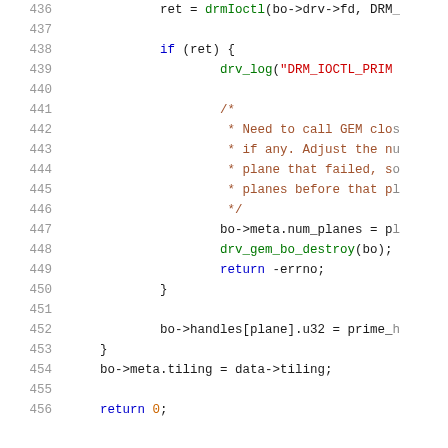[Figure (screenshot): Source code listing showing lines 436-456 of a C file with syntax highlighting. Line numbers in grey on left, code with colored tokens on right. Shows DRM ioctl call, error handling with drv_log, block comment about GEM close and plane adjustment, bo->meta.num_planes assignment, drv_gem_bo_destroy call, return -errno, closing braces, bo->handles[plane].u32 assignment, bo->meta.tiling assignment, and return 0.]